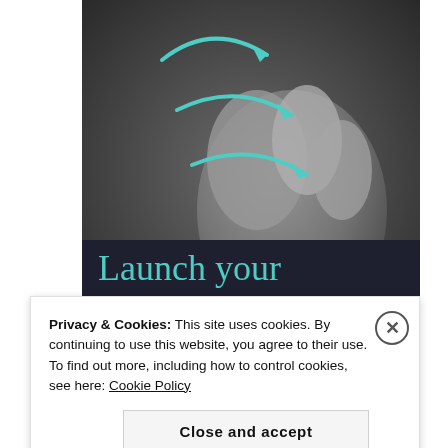[Figure (illustration): A grey sculptural hand figure with teal/turquoise arrows overlaid pointing to the right, on a dark grey background. The image occupies the upper portion of the page.]
Launch your online course with WordPress
Privacy & Cookies: This site uses cookies. By continuing to use this website, you agree to their use.
To find out more, including how to control cookies, see here: Cookie Policy
Close and accept